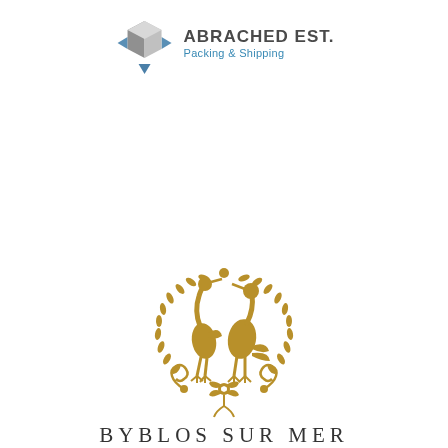[Figure (logo): Abrached Est. Packing & Shipping logo with grey 3D box icon and blue arrows, company name in dark grey, tagline in blue]
[Figure (logo): Byblos Sur Mer logo with gold decorative emblem featuring two herons/cranes inside a wreath with ornamental scrollwork below, text BYBLOS SUR MER in serif font below]